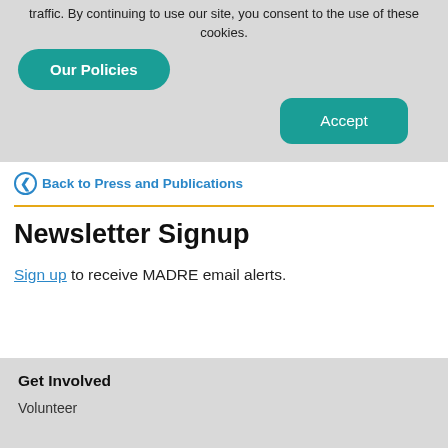traffic. By continuing to use our site, you consent to the use of these cookies.
[Figure (other): Teal 'Our Policies' rounded button]
[Figure (other): Teal 'Accept' rounded rectangle button]
❮  Back to Press and Publications
Newsletter Signup
Sign up to receive MADRE email alerts.
Get Involved
Volunteer